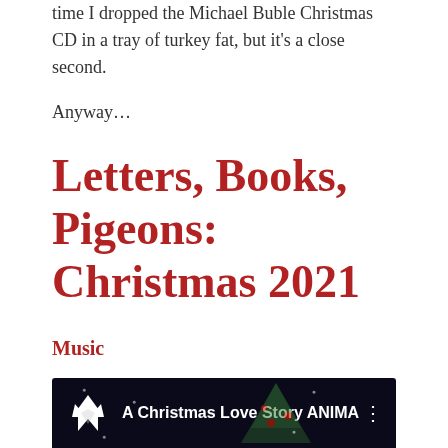time I dropped the Michael Buble Christmas CD in a tray of turkey fat, but it's a close second.
Anyway...
Letters, Books, Pigeons: Christmas 2021
Music
I'm going to start as we mean to go on, with this:
[Figure (screenshot): Video thumbnail showing a fox logo icon on a dark background with Christmas tree imagery and the text 'A Christmas Love Story ANIMA']